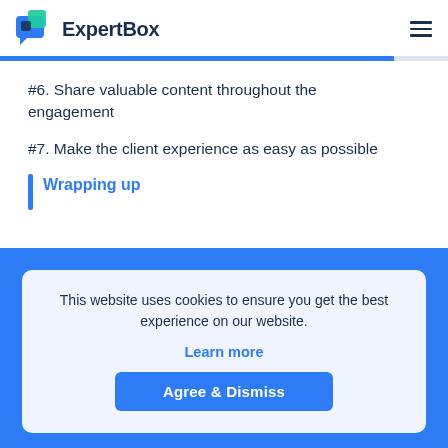ExpertBox
#6. Share valuable content throughout the engagement
#7. Make the client experience as easy as possible
Wrapping up
This website uses cookies to ensure you get the best experience on our website.
Learn more
Agree & Dismiss